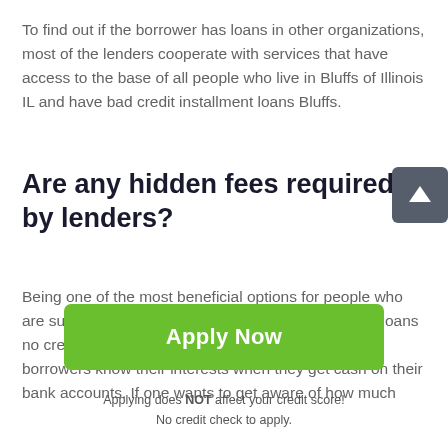To find out if the borrower has loans in other organizations, most of the lenders cooperate with services that have access to the base of all people who live in Bluffs of Illinois IL and have bad credit installment loans Bluffs.
Are any hidden fees required by lenders?
Being one of the most beneficial options for people who are suffering from a lack of money Bluffs installment loans no credit check don't have any additional fees. So, borrowers know their interests when they get cash on their bank accounts. If one wants to get aware of how much
[Figure (other): Green 'Apply Now' button]
Applying does NOT affect your credit score!
No credit check to apply.